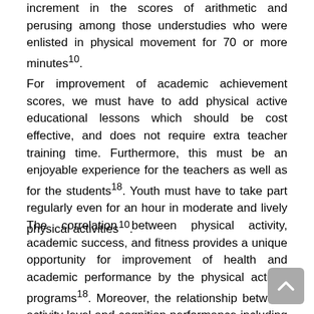increment in the scores of arithmetic and perusing among those understudies who were enlisted in physical movement for 70 or more minutes¹⁰.
For improvement of academic achievement scores, we must have to add physical active educational lessons which should be cost effective, and does not require extra teacher training time. Furthermore, this must be an enjoyable experience for the teachers as well as for the students¹⁸. Youth must have to take part regularly even for an hour in moderate and lively physical activities¹⁰.
The correlation between physical activity, academic success, and fitness provides a unique opportunity for improvement of health and academic performance by the physical activity programs¹⁸. Moreover, the relationship between activity level and cognition performance including perceptual skills, brainpower proportion, academic performance, oral tests, maths tests, developmental level and academics willingness in